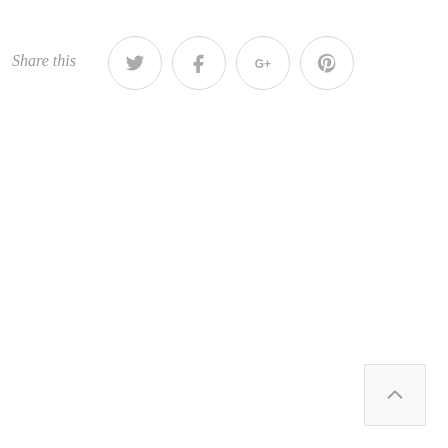Share this
[Figure (illustration): Social share buttons row: Twitter bird icon, Facebook f icon, Google+ icon, Pinterest p icon — each inside a light grey circle border]
[Figure (illustration): Back to top button: small square with upward caret arrow, light grey border, bottom-right corner]